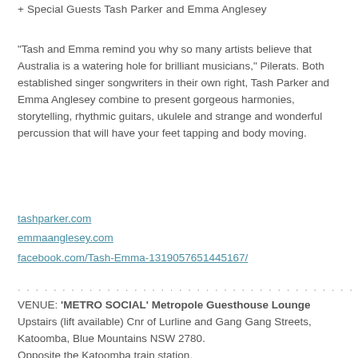+ Special Guests Tash Parker and Emma Anglesey
“Tash and Emma remind you why so many artists believe that Australia is a watering hole for brilliant musicians,” Pilerats. Both established singer songwriters in their own right, Tash Parker and Emma Anglesey combine to present gorgeous harmonies, storytelling, rhythmic guitars, ukulele and strange and wonderful percussion that will have your feet tapping and body moving.
tashparker.com
emmaanglesey.com
facebook.com/Tash-Emma-1319057651445167/
. . . . . . . . . . . . . . . . . . . . . . . . . . . . . . . . . . . . . . . . .
VENUE: ‘METRO SOCIAL’ Metropole Guesthouse Lounge Upstairs (lift available) Cnr of Lurline and Gang Gang Streets, Katoomba, Blue Mountains NSW 2780. Opposite the Katoomba train station.